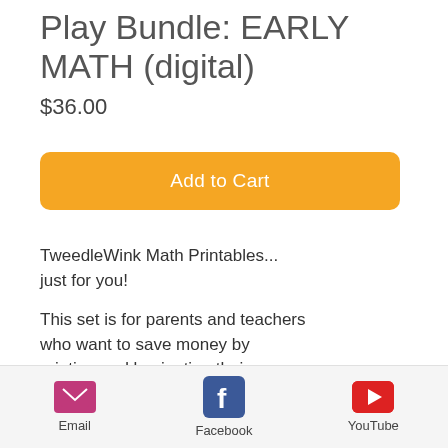Play Bundle: EARLY MATH (digital)
$36.00
Add to Cart
TweedleWink Math Printables... just for you!
This set is for parents and teachers who want to save money by printing and laminating their own lesson materials.
Email   Facebook   YouTube